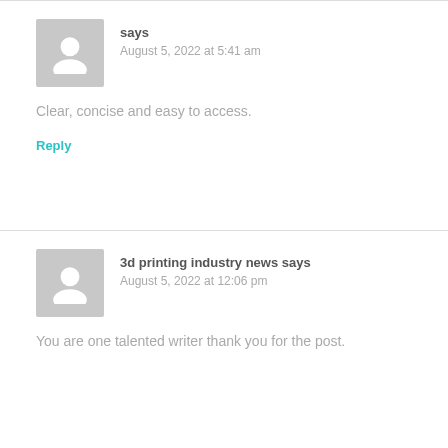says
August 5, 2022 at 5:41 am
Clear, concise and easy to access.
Reply
3d printing industry news says
August 5, 2022 at 12:06 pm
You are one talented writer thank you for the post.